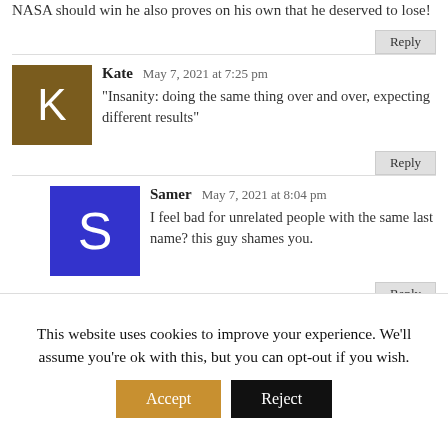by it. He that which he explains why NASA should win he also proves on his own that he deserved to lose!
Kate — May 7, 2021 at 7:25 pm
“Insanity: doing the same thing over and over, expecting different results”
Samer — May 7, 2021 at 8:04 pm
I feel bad for unrelated people with the same last name? this guy shames you.
Samer — May 7, 2021 at 8:05 pm
This website uses cookies to improve your experience. We’ll assume you’re ok with this, but you can opt-out if you wish. Accept Reject